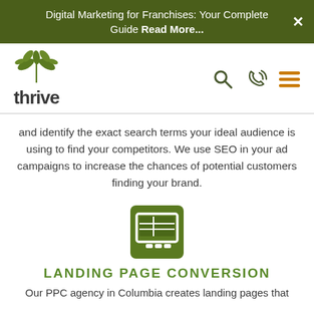Digital Marketing for Franchises: Your Complete Guide Read More...
[Figure (logo): Thrive agency logo with green leaf/plant graphic above the word 'thrive' in dark gray bold text]
[Figure (other): Navigation icons: magnifying glass (search), phone/call icon, hamburger menu (three horizontal lines in orange)]
and identify the exact search terms your ideal audience is using to find your competitors. We use SEO in your ad campaigns to increase the chances of potential customers finding your brand.
[Figure (illustration): Green square icon depicting a computer monitor/display with a grid layout inside, representing a landing page or web layout]
LANDING PAGE CONVERSION
Our PPC agency in Columbia creates landing pages that